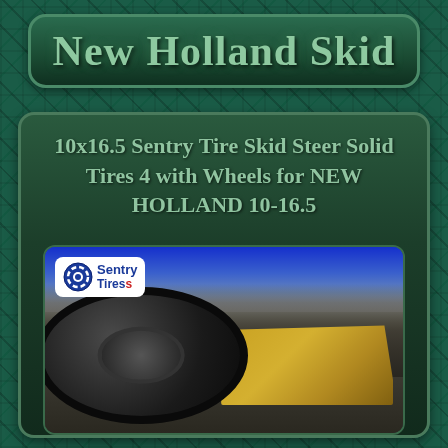New Holland Skid
10x16.5 Sentry Tire Skid Steer Solid Tires 4 with Wheels for NEW HOLLAND 10-16.5
[Figure (photo): Product photo of Sentry Tires solid skid steer tires and wheels with a yellow New Holland loader machine in the background at a scrap yard. Sentry Tires logo in upper left of image.]